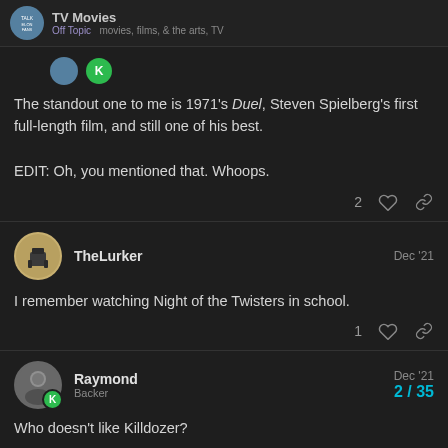TV Movies
The standout one to me is 1971's Duel, Steven Spielberg's first full-length film, and still one of his best.

EDIT: Oh, you mentioned that. Whoops.
TheLurker  Dec '21
I remember watching Night of the Twisters in school.
Raymond  Backer  Dec '21
Who doesn't like Killdozer?